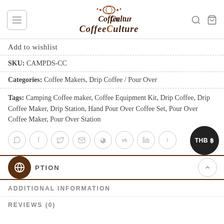CoffeeCulture
Add to wishlist
SKU: CAMPDS-CC
Categories: Coffee Makers, Drip Coffee / Pour Over
Tags: Camping Coffee maker, Coffee Equipment Kit, Drip Coffee, Drip Coffee Maker, Drip Station, Hand Pour Over Coffee Set, Pour Over Coffee Maker, Pour Over Station
[Figure (screenshot): Social sharing icons row (WhatsApp, Facebook, Twitter, Email, Pinterest, VK, LinkedIn, Tumblr) with THB currency badge]
DESCRIPTION
ADDITIONAL INFORMATION
REVIEWS (0)